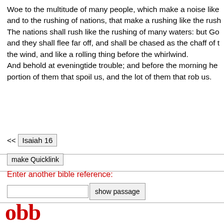Woe to the multitude of many people, which make a noise like and to the rushing of nations, that make a rushing like the rush The nations shall rush like the rushing of many waters: but Go and they shall flee far off, and shall be chased as the chaff of the wind, and like a rolling thing before the whirlwind. And behold at eveningtide trouble; and before the morning he portion of them that spoil us, and the lot of them that rob us.
<< Isaiah 16
make Quicklink
Enter another bible reference:
show passage
[Figure (logo): obb bible browser logo in red with biblemail@oremus.org, v 2.9.2, 30 June 2021]